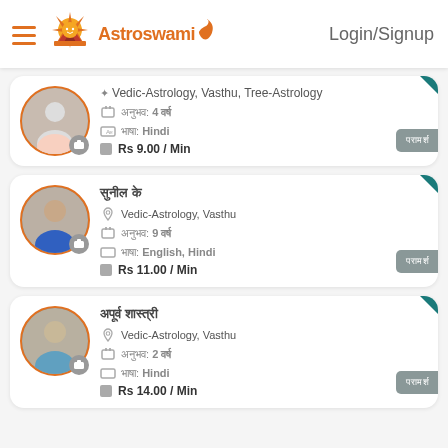Astroswami | Login/Signup
[Figure (infographic): Astrologer card 1: Vedic-Astrology, Vasthu, Tree-Astrology, Experience 4 years, Language Hindi, Rs 9.00/Min]
[Figure (infographic): Astrologer card 2 (Hindi name): Vedic-Astrology, Vasthu, Experience 9 years, Language English Hindi, Rs 11.00/Min]
[Figure (infographic): Astrologer card 3 (Hindi name): Vedic-Astrology, Vasthu, Experience 2 years, Language Hindi, Rs 14.00/Min]